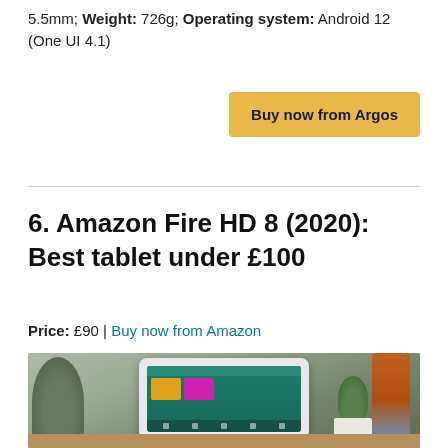5.5mm; Weight: 726g; Operating system: Android 12 (One UI 4.1)
Buy now from Argos
6. Amazon Fire HD 8 (2020): Best tablet under £100
Price: £90 | Buy now from Amazon
[Figure (photo): Amazon Fire HD 8 (2020) tablet displayed on a table, showing the home screen with apps including Prime Reading and #AtHome. A plant is visible to the right and a person in an orange jacket is partially visible in the background.]